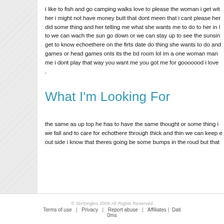i like to fish and go camping walks love to please the woman i get with her i might not have money butt that dont meen that i cant please her did some thing and her telling me what she wants me to do to her in l to we can wach the sun go down or we can stay up to see the sunsin get to know echoethere on the firts date do thing she wants to do and games or head games onls its the bd room lol im a one woman man me i dont play that way you want me you got me for gooooood i love .
What I'm Looking For
the same as up top he has to have the same thought or some thing i we fall and to care for echothere through thick and thin we can keep out side i know that theres going be some bumps in the roud but that
© SixSingles 2009 All Rights Reserved   Terms of use  |  Privacy  |  Report abuse  |  Affiliates  |  Dati 0ms